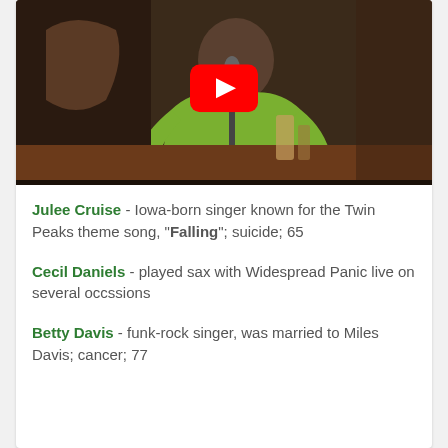[Figure (screenshot): YouTube video thumbnail showing a person in a green shirt playing or singing into a microphone with a red YouTube play button overlay]
Julee Cruise - Iowa-born singer known for the Twin Peaks theme song, "Falling"; suicide; 65
Cecil Daniels - played sax with Widespread Panic live on several occssions
Betty Davis - funk-rock singer, was married to Miles Davis; cancer; 77